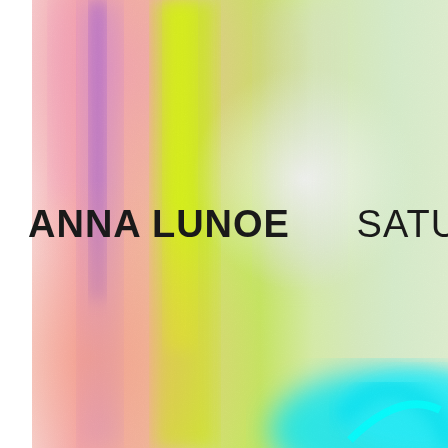[Figure (illustration): Holographic rainbow gradient background with swirling pastel colors — pink, orange, yellow-green, lavender, cyan — creating an iridescent, abstract aurora-like effect. The left edge of the image is white (cropped).]
ANNA LUNOE  SATURD